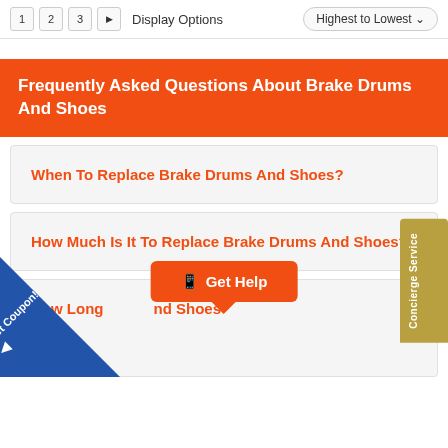1 2 3 ▶ Display Options Highest to Lowest
Frequently Asked Questions About Brake Drums And Shoes
When To Replace Brake Drums And Shoes?
How Much Is It To Replace Brake Drums And Shoes?
How Long ... nd Shoes ... st?
Get Coupon!
Get Help